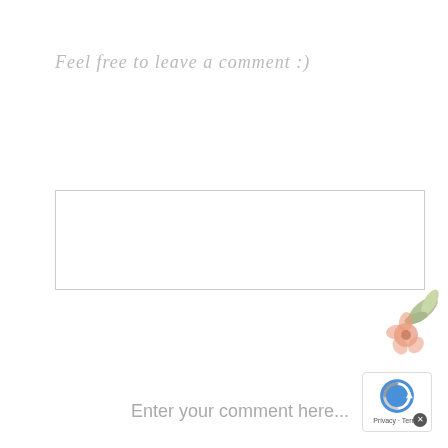Feel free to leave a comment :)
Enter your comment here...
[Figure (illustration): Blog sidebar section with 'follow jennifer' vertical text, pink watercolor blob, circular portrait photo of a blonde woman smiling, 'hey i'm jennifer' script text, and flower/leaf decorations. Includes a reCAPTCHA badge in the bottom right corner.]